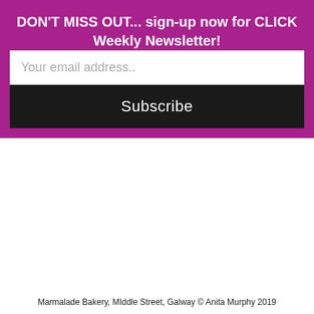DON'T MISS OUT... sign-up now for CLICK Weekly Newsletter!
Your email address..
Subscribe
Marmalade Bakery, Middle Street, Galway © Anita Murphy 2019